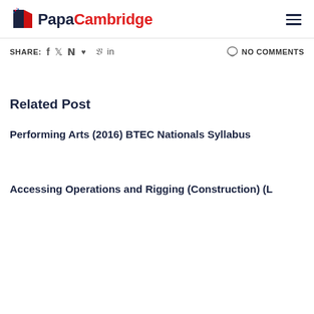PapaCambridge
SHARE: f  t  p  in   NO COMMENTS
Related Post
Performing Arts (2016) BTEC Nationals Syllabus
Accessing Operations and Rigging (Construction) (L